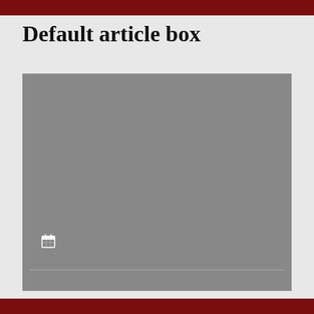Default article box
[Figure (other): Gray article box placeholder with a small calendar icon in the lower-left area and a faint horizontal divider line near the bottom]